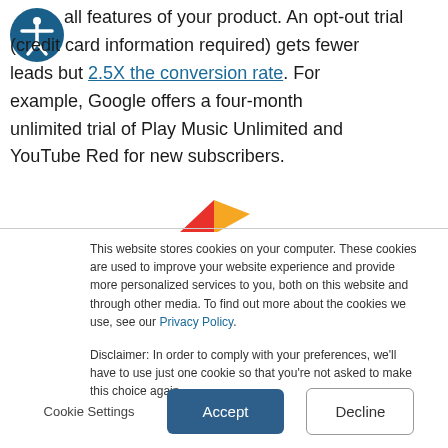all features of your product. An opt-out trial (credit card information required) gets fewer leads but 2.5X the conversion rate. For example, Google offers a four-month unlimited trial of Play Music Unlimited and YouTube Red for new subscribers.
[Figure (other): Partial decorative image visible at the bottom of the top section, showing a red and yellow shape]
This website stores cookies on your computer. These cookies are used to improve your website experience and provide more personalized services to you, both on this website and through other media. To find out more about the cookies we use, see our Privacy Policy.
Disclaimer: In order to comply with your preferences, we'll have to use just one cookie so that you're not asked to make this choice again.
Cookie Settings | Accept | Decline